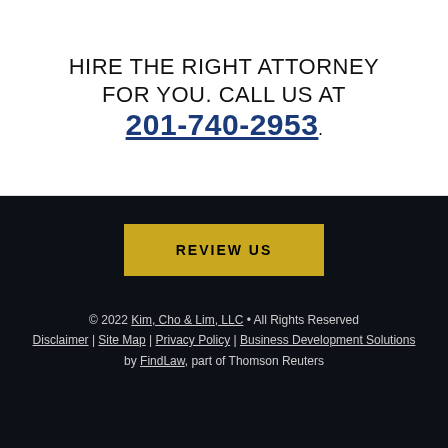HIRE THE RIGHT ATTORNEY FOR YOU. CALL US AT
201-740-2953
REVIEW US
© 2022 Kim, Cho & Lim, LLC • All Rights Reserved Disclaimer | Site Map | Privacy Policy | Business Development Solutions by FindLaw, part of Thomson Reuters